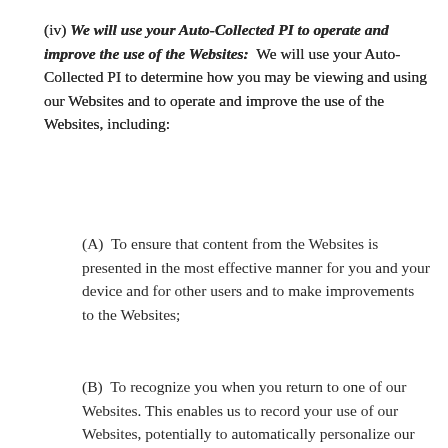(iv) We will use your Auto-Collected PI to operate and improve the use of the Websites: We will use your Auto-Collected PI to determine how you may be viewing and using our Websites and to operate and improve the use of the Websites, including:
(A) To ensure that content from the Websites is presented in the most effective manner for you and your device and for other users and to make improvements to the Websites;
(B) To recognize you when you return to one of our Websites. This enables us to record your use of our Websites, potentially to automatically personalize our Websites' content for you and remember your